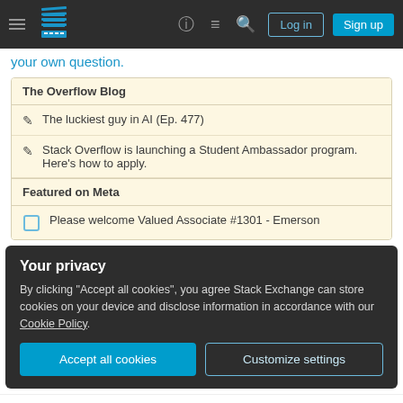Stack Overflow navigation bar with hamburger menu, logo, help, chat, search icons, Log in and Sign up buttons
your own question.
The Overflow Blog
The luckiest guy in AI (Ep. 477)
Stack Overflow is launching a Student Ambassador program. Here's how to apply.
Featured on Meta
Please welcome Valued Associate #1301 - Emerson
Your privacy
By clicking "Accept all cookies", you agree Stack Exchange can store cookies on your device and disclose information in accordance with our Cookie Policy.
Accept all cookies   Customize settings
0   PostgreSQL SELECTs not returning correct result following